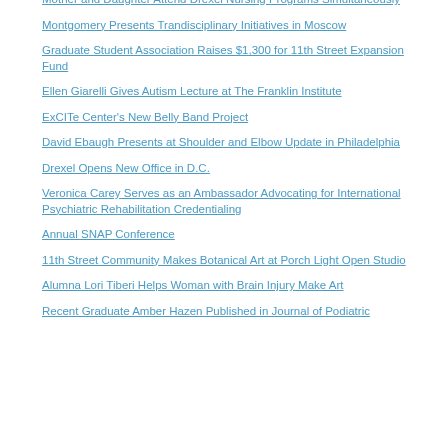Mother and Daughter Attend Drexel Nursing Programs Simultaneously
Montgomery Presents Trandisciplinary Initiatives in Moscow
Graduate Student Association Raises $1,300 for 11th Street Expansion Fund
Ellen Giarelli Gives Autism Lecture at The Franklin Institute
ExCITe Center's New Belly Band Project
David Ebaugh Presents at Shoulder and Elbow Update in Philadelphia
Drexel Opens New Office in D.C.
Veronica Carey Serves as an Ambassador Advocating for International Psychiatric Rehabilitation Credentialing
Annual SNAP Conference
11th Street Community Makes Botanical Art at Porch Light Open Studio
Alumna Lori Tiberi Helps Woman with Brain Injury Make Art
Recent Graduate Amber Hazen Published in Journal of Podiatric